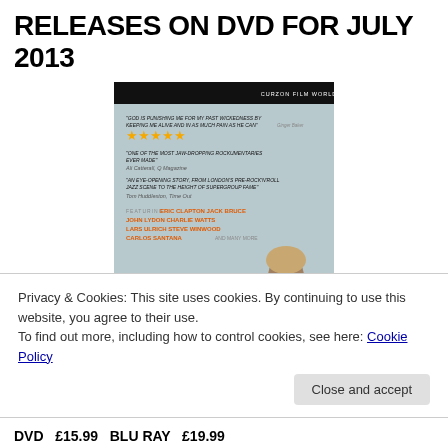RELEASES ON DVD FOR JULY 2013
[Figure (photo): DVD cover for 'Beware of Mr. Baker' documentary featuring reviews from critics and names of featured musicians including Eric Clapton, Jack Bruce, John Lydon, Charlie Watts, Lars Ulrich, Steve Winwood, Carlos Santana and many more. Shows a man sitting at a drum kit.]
Privacy & Cookies: This site uses cookies. By continuing to use this website, you agree to their use.
To find out more, including how to control cookies, see here: Cookie Policy
Close and accept
DVD  £15.99  BLU RAY  £19.99